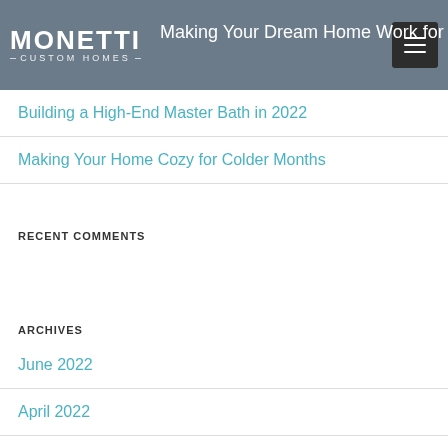Making Your Dream Home Work for You
Building a High-End Master Bath in 2022
Making Your Home Cozy for Colder Months
RECENT COMMENTS
ARCHIVES
June 2022
April 2022
January 2022
December 2021